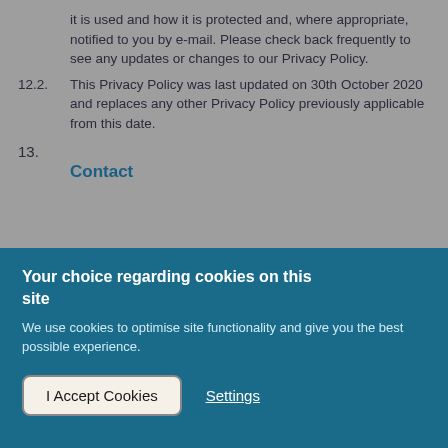it is used and how it is protected and, where appropriate, notified to you by e-mail. Please check back frequently to see any updates or changes to our Privacy Policy.
12.2.  This Privacy Policy was last updated on 30th October 2020 and replaces any other Privacy Policy previously applicable from this date.
13.
Contact
Your choice regarding cookies on this site
We use cookies to optimise site functionality and give you the best possible experience.
I Accept Cookies
Settings